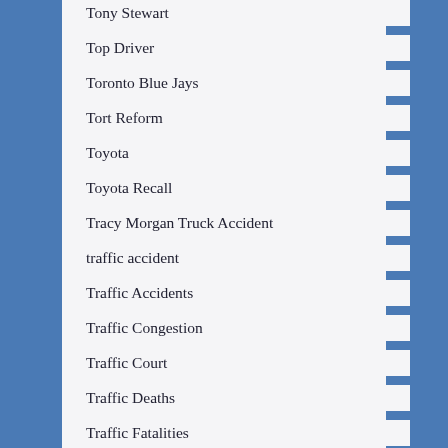Tony Stewart
Top Driver
Toronto Blue Jays
Tort Reform
Toyota
Toyota Recall
Tracy Morgan Truck Accident
traffic accident
Traffic Accidents
Traffic Congestion
Traffic Court
Traffic Deaths
Traffic Fatalities
traffic light boxes
Traffic Safety
Traffic Safety Tips